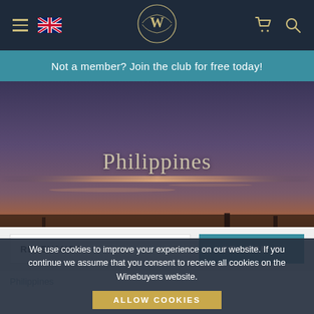Winebuyers navigation bar with hamburger menu, UK flag, logo, cart and search icons
Not a member? Join the club for free today!
[Figure (photo): Sunset/dusk sky hero image with purple and orange gradient tones, silhouettes of structures at bottom]
Philippines
RELEVANCE (dropdown) | SEARCH (dropdown button)
Philippines
Sorr... sults
We use cookies to improve your experience on our website. If you continue we assume that you consent to receive all cookies on the Winebuyers website.
ALLOW COOKIES